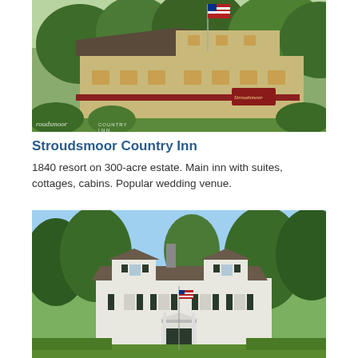[Figure (photo): Exterior photo of Stroudsmoor Country Inn — a yellow/olive-colored multi-story building with red trim, American flag on a pole, surrounded by green trees and shrubs. Sign visible at bottom left reading 'Stroudsmoor Country Inn'.]
Stroudsmoor Country Inn
1840 resort on 300-acre estate. Main inn with suites, cottages, cabins. Popular wedding venue.
[Figure (photo): Exterior photo of a large white Colonial-style inn with dark shutters, dormer windows, a chimney, and a formal entrance. Surrounded by lush green trees and manicured hedges.]